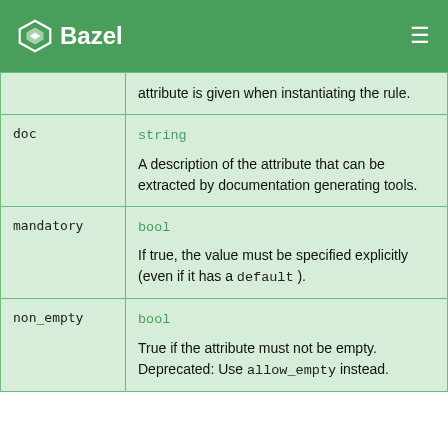Bazel
| Parameter | Description |
| --- | --- |
|  | attribute is given when instantiating the rule. |
| doc | string

A description of the attribute that can be extracted by documentation generating tools. |
| mandatory | bool

If true, the value must be specified explicitly (even if it has a default ). |
| non_empty | bool

True if the attribute must not be empty. Deprecated: Use allow_empty instead. |